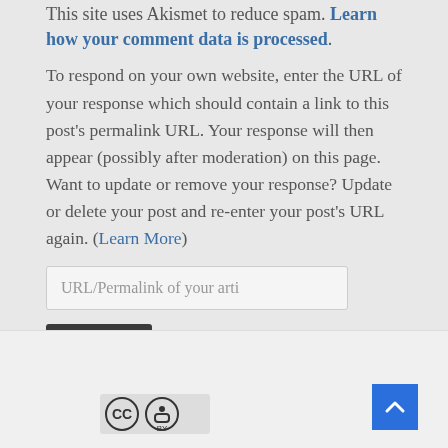This site uses Akismet to reduce spam. Learn how your comment data is processed.
To respond on your own website, enter the URL of your response which should contain a link to this post's permalink URL. Your response will then appear (possibly after moderation) on this page. Want to update or remove your response? Update or delete your post and re-enter your post's URL again. (Learn More)
URL/Permalink of your arti
Ping me!
[Figure (logo): Creative Commons BY license logo]